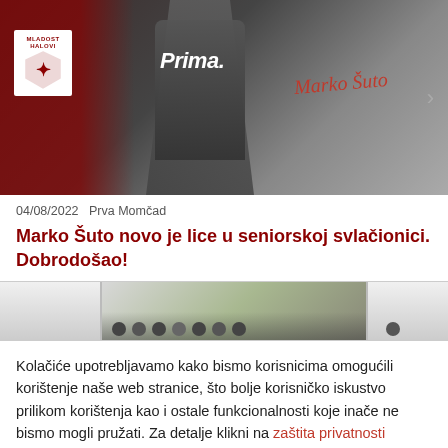[Figure (photo): Hero image of a football player wearing a dark jersey with 'Prima.' text and team logo. Signature 'Marko Šuto' visible. Club logo (Mladost Halovi) shown top left.]
04/08/2022   Prva Momčad
Marko Šuto novo je lice u seniorskoj svlačionici. Dobrodošao!
[Figure (photo): Partial view of a group photo, likely a team photo on a football pitch.]
Kolačiće upotrebljavamo kako bismo korisnicima omogućili korištenje naše web stranice, što bolje korisničko iskustvo prilikom korištenja kao i ostale funkcionalnosti koje inače ne bismo mogli pružati. Za detalje klikni na zaštita privatnosti
Prihvati